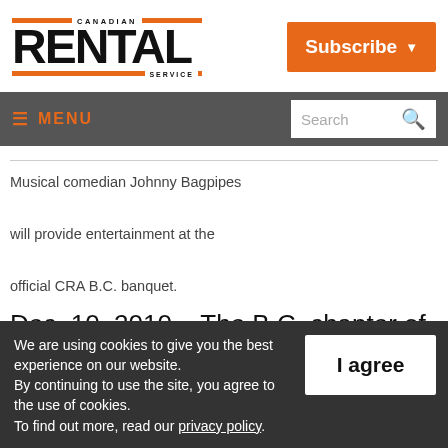[Figure (logo): Canadian Rental Service logo with orange stripes and bold black RENTAL text]
[Figure (other): Orange Subscribe button with dropdown arrow]
≡ MENU   Search
Musical comedian Johnny Bagpipes will provide entertainment at the official CRA B.C. banquet.
Dec. 10, 2010 – The B.C. chapter of the
We are using cookies to give you the best experience on our website. By continuing to use the site, you agree to the use of cookies. To find out more, read our privacy policy.